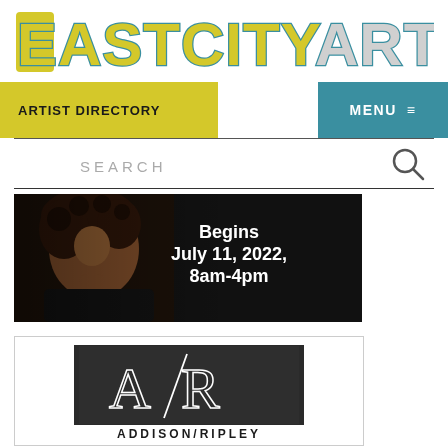[Figure (logo): EastCityArt logo in large blocky letters with yellow and teal/gray colors]
ARTIST DIRECTORY    MENU ≡
SEARCH
[Figure (photo): Banner image showing a person with curly hair in dark setting with text overlay: Begins July 11, 2022, 8am-4pm]
[Figure (logo): A/R logo in white on dark background with diagonal line between A and R, above text ADDISON/RIPLEY]